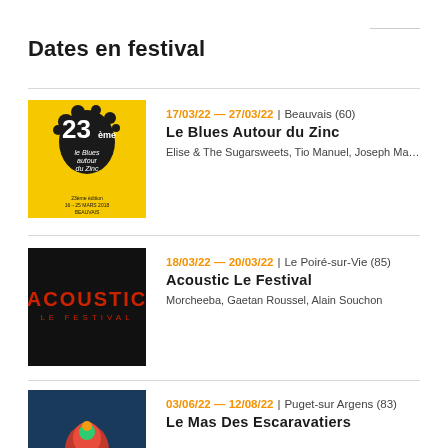Dates en festival
17/03/22 — 27/03/22 | Beauvais (60)
Le Blues Autour du Zinc
Elise & The Sugarsweets, Tio Manuel, Joseph Ma...
18/03/22 — 20/03/22 | Le Poiré-sur-Vie (85)
Acoustic Le Festival
Morcheeba, Gaetan Roussel, Alain Souchon
03/06/22 — 12/08/22 | Puget-sur Argens (83)
Le Mas Des Escaravatiers